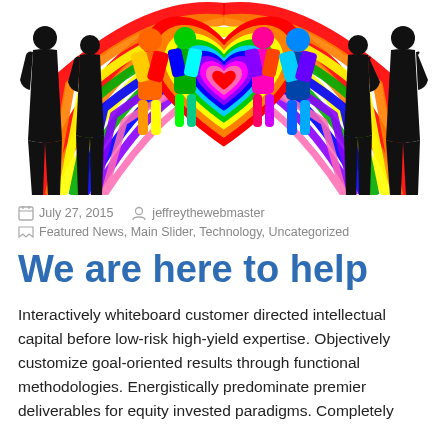[Figure (illustration): Colorful illustration of diverse silhouetted people standing in a circle with a large rainbow pride heart in the center and rainbow arcs behind them]
July 27, 2015   jeffreythewebmaster
Featured News, Main Slider, Technology, Uncategorized
We are here to help
Interactively whiteboard customer directed intellectual capital before low-risk high-yield expertise. Objectively customize goal-oriented results through functional methodologies. Energistically predominate premier deliverables for equity invested paradigms. Completely